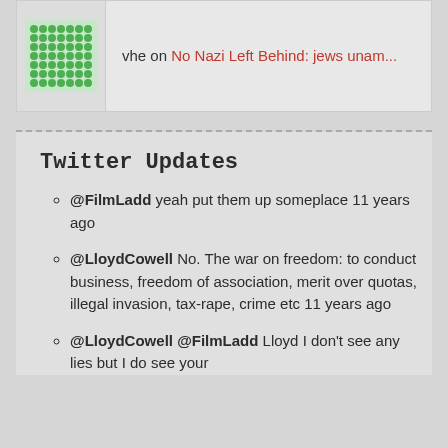vhe on No Nazi Left Behind: jews unam...
Twitter Updates
@FilmLadd yeah put them up someplace 11 years ago
@LloydCowell No. The war on freedom: to conduct business, freedom of association, merit over quotas, illegal invasion, tax-rape, crime etc 11 years ago
@LloydCowell @FilmLadd Lloyd I don't see any lies but I do see your